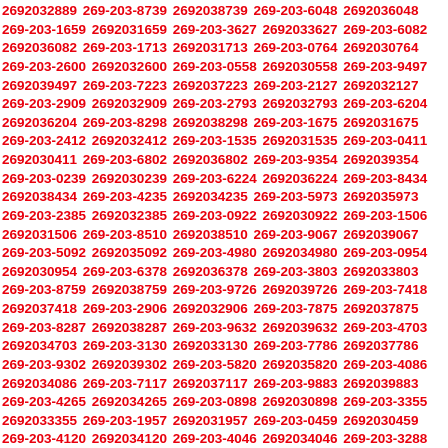2692032889 269-203-8739 2692038739 269-203-6048 2692036048 269-203-1659 2692031659 269-203-3627 2692033627 269-203-6082 2692036082 269-203-1713 2692031713 269-203-0764 2692030764 269-203-2600 2692032600 269-203-0558 2692030558 269-203-9497 2692039497 269-203-7223 2692037223 269-203-2127 2692032127 269-203-2909 2692032909 269-203-2793 2692032793 269-203-6204 2692036204 269-203-8298 2692038298 269-203-1675 2692031675 269-203-2412 2692032412 269-203-1535 2692031535 269-203-0411 2692030411 269-203-6802 2692036802 269-203-9354 2692039354 269-203-0239 2692030239 269-203-6224 2692036224 269-203-8434 2692038434 269-203-4235 2692034235 269-203-5973 2692035973 269-203-2385 2692032385 269-203-0922 2692030922 269-203-1506 2692031506 269-203-8510 2692038510 269-203-9067 2692039067 269-203-5092 2692035092 269-203-4980 2692034980 269-203-0954 2692030954 269-203-6378 2692036378 269-203-3803 2692033803 269-203-8759 2692038759 269-203-9726 2692039726 269-203-7418 2692037418 269-203-2906 2692032906 269-203-7875 2692037875 269-203-8287 2692038287 269-203-9632 2692039632 269-203-4703 2692034703 269-203-3130 2692033130 269-203-7786 2692037786 269-203-9302 2692039302 269-203-5820 2692035820 269-203-4086 2692034086 269-203-7117 2692037117 269-203-9883 2692039883 269-203-4265 2692034265 269-203-0898 2692030898 269-203-3355 2692033355 269-203-1957 2692031957 269-203-0459 2692030459 269-203-4120 2692034120 269-203-4046 2692034046 269-203-3288 2692033288 269-203-6972 2692036972 269-203-0293 2692030293